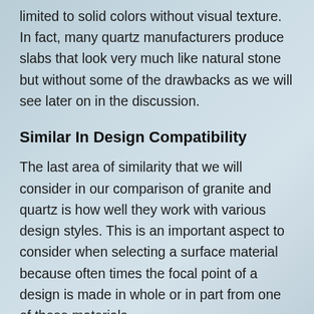limited to solid colors without visual texture. In fact, many quartz manufacturers produce slabs that look very much like natural stone but without some of the drawbacks as we will see later on in the discussion.
Similar In Design Compatibility
The last area of similarity that we will consider in our comparison of granite and quartz is how well they work with various design styles. This is an important aspect to consider when selecting a surface material because often times the focal point of a design is made in whole or in part from one of these materials.